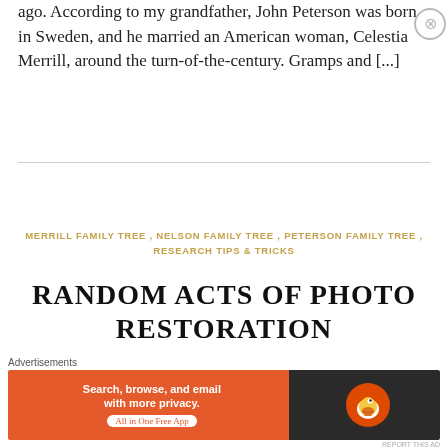ago. According to my grandfather, John Peterson was born in Sweden, and he married an American woman, Celestia Merrill, around the turn-of-the-century. Gramps and [...]
MERRILL FAMILY TREE, NELSON FAMILY TREE, PETERSON FAMILY TREE, RESEARCH TIPS & TRICKS
RANDOM ACTS OF PHOTO RESTORATION
DECEMBER 21, 2018   13 COMMENTS
[Figure (other): DuckDuckGo advertisement banner: orange and dark background with text 'Search, browse, and email with more privacy. All in One Free App' and DuckDuckGo duck logo]